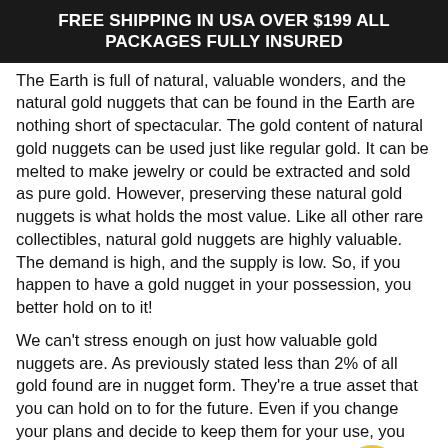FREE SHIPPING IN USA OVER $199 ALL PACKAGES FULLY INSURED
The Earth is full of natural, valuable wonders, and the natural gold nuggets that can be found in the Earth are nothing short of spectacular. The gold content of natural gold nuggets can be used just like regular gold. It can be melted to make jewelry or could be extracted and sold as pure gold. However, preserving these natural gold nuggets is what holds the most value. Like all other rare collectibles, natural gold nuggets are highly valuable. The demand is high, and the supply is low. So, if you happen to have a gold nugget in your possession, you better hold on to it!
We can't stress enough on just how valuable gold nuggets are. As previously stated less than 2% of all gold found are in nugget form. They're a true asset that you can hold on to for the future. Even if you change your plans and decide to keep them for your use, you can always have your gold nugget melted to [crown icon] the pure gold and have jewelry made! Considering how high their demand is and how low their supply is, gold nuggets
[Figure (illustration): Yellow circular crown badge icon overlaid on the text]